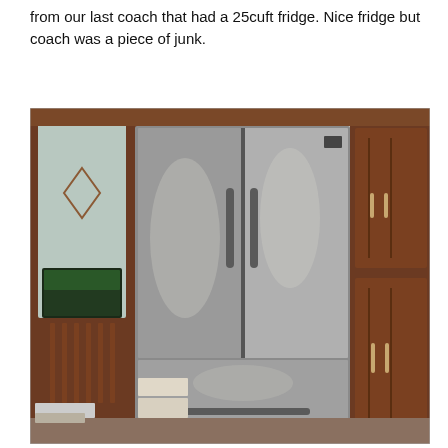from our last coach that had a 25cuft fridge. Nice fridge but coach was a piece of junk.
[Figure (photo): Interior photo of an RV or motorcoach showing a large stainless steel French door refrigerator installed between dark wood-paneled cabinetry. The fridge has two upper doors and a bottom freezer drawer. On the left side is a mirror and a TV screen visible in the background. On the right side are tall wooden cabinets with small metal handles. The ceiling is light colored with a round vent.]